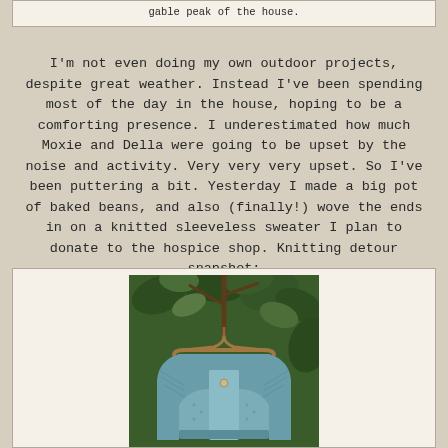gable peak of the house.
I'm not even doing my own outdoor projects, despite great weather. Instead I've been spending most of the day in the house, hoping to be a comforting presence. I underestimated how much Moxie and Della were going to be upset by the noise and activity. Very very very upset. So I've been puttering a bit. Yesterday I made a big pot of baked beans, and also (finally!) wove the ends in on a knitted sleeveless sweater I plan to donate to the hospice shop. Knitting detour snapshot:
[Figure (photo): A teal/blue sleeveless knitted sweater hanging on a wooden hanger outdoors, with green foliage in the background.]